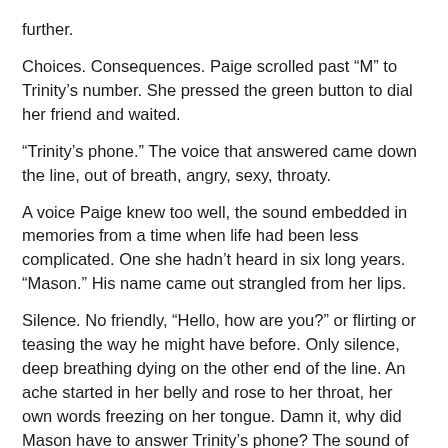further.
Choices. Consequences. Paige scrolled past “M” to Trinity’s number. She pressed the green button to dial her friend and waited.
“Trinity’s phone.” The voice that answered came down the line, out of breath, angry, sexy, throaty.
A voice Paige knew too well, the sound embedded in memories from a time when life had been less complicated. One she hadn’t heard in six long years. “Mason.” His name came out strangled from her lips.
Silence. No friendly, “Hello, how are you?” or flirting or teasing the way he might have before. Only silence, deep breathing dying on the other end of the line. An ache started in her belly and rose to her throat, her own words freezing on her tongue. Damn it, why did Mason have to answer Trinity’s phone? The sound of his voice tilted her precariously balanced universe on its axis, in a different way to how it used to, the warmth missing from his tone.